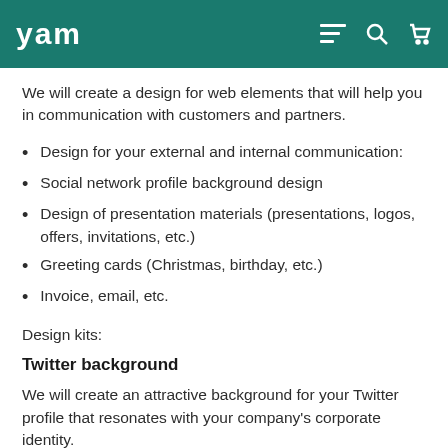yam
We will create a design for web elements that will help you in communication with customers and partners.
Design for your external and internal communication:
Social network profile background design
Design of presentation materials (presentations, logos, offers, invitations, etc.)
Greeting cards (Christmas, birthday, etc.)
Invoice, email, etc.
Design kits:
Twitter background
We will create an attractive background for your Twitter profile that resonates with your company's corporate identity.
Youtube channel design